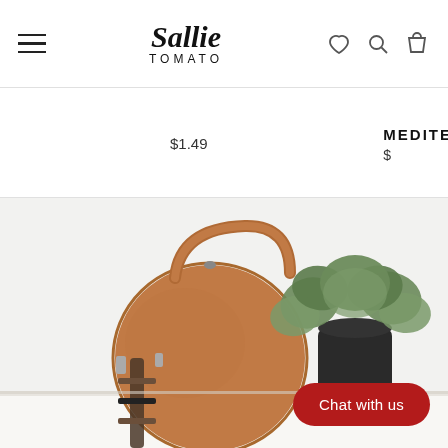[Figure (logo): Sallie Tomato brand logo with script font and hamburger menu icon]
$1.49
MEDITE
$
[Figure (photo): Round tan/cognac leather crossbody bag sitting on a white surface next to a green plant in a black pot, on a light grey/white background]
Chat with us